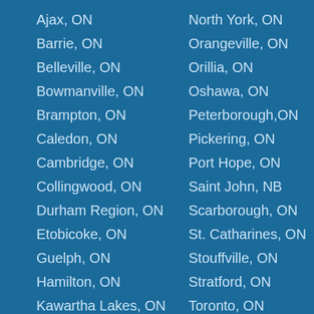Ajax, ON
Barrie, ON
Belleville, ON
Bowmanville, ON
Brampton, ON
Caledon, ON
Cambridge, ON
Collingwood, ON
Durham Region, ON
Etobicoke, ON
Guelph, ON
Hamilton, ON
Kawartha Lakes, ON
Kitchener, ON
North York, ON
Orangeville, ON
Orillia, ON
Oshawa, ON
Peterborough,ON
Pickering, ON
Port Hope, ON
Saint John, NB
Scarborough, ON
St. Catharines, ON
Stouffville, ON
Stratford, ON
Toronto, ON
Vaughan, ON